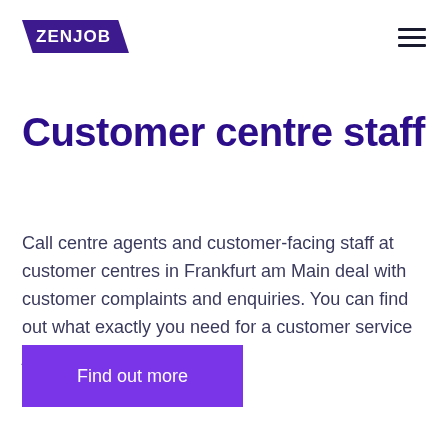ZENJOB
Customer centre staff
Call centre agents and customer-facing staff at customer centres in Frankfurt am Main deal with customer complaints and enquiries. You can find out what exactly you need for a customer service job here.
Find out more